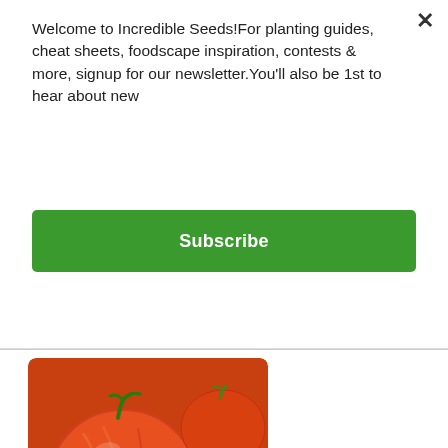Welcome to Incredible Seeds!For planting guides, cheat sheets, foodscape inspiration, contests & more, signup for our newsletter.You'll also be 1st to hear about new
Subscribe
[Figure (photo): Close-up photo of multiple small cherry tomatoes, orange-red with marbled/striped patterns, some with green stems]
BUMBLEBEE, SUNRISE - CHERRY TOMATO SEEDS
Indeterminate. 70 days. Sunrise Bumblebee is a cheery little cherry tomato with big flavour! The marbled, orange fruit is both sweet, tangy and beautiful. Each seed packet contains